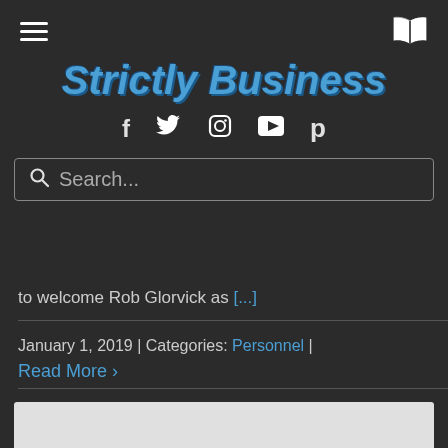Strictly Business — site header with menu, book icon, social icons, and search bar
Strictly Business
to welcome Rob Glorvick as [...]
January 1, 2019 | Categories: Personnel | Read More >
1  2  Next >